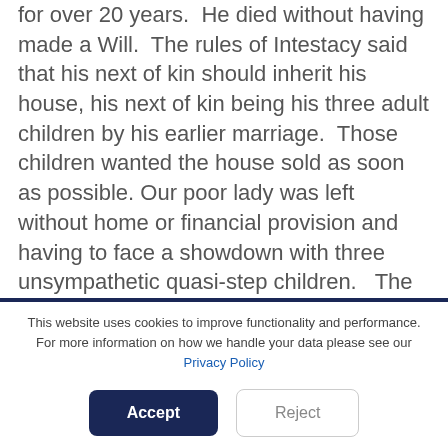for over 20 years.  He died without having made a Will.  The rules of Intestacy said that his next of kin should inherit his house, his next of kin being his three adult children by his earlier marriage.  Those children wanted the house sold as soon as possible. Our poor lady was left without home or financial provision and having to face a showdown with three unsympathetic quasi-step children.   The answer was
This website uses cookies to improve functionality and performance. For more information on how we handle your data please see our Privacy Policy